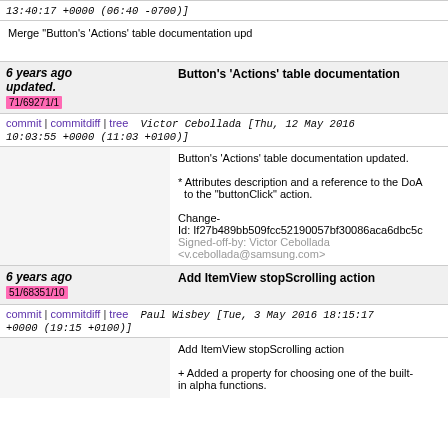13:40:17 +0000 (06:40 -0700)]
Merge "Button's 'Actions' table documentation upd...
6 years ago Button's 'Actions' table documentation updated. 71/69271/1
commit | commitdiff | tree   Victor Cebollada [Thu, 12 May 2016 10:03:55 +0000 (11:03 +0100)]
Button's 'Actions' table documentation updated.

* Attributes description and a reference to the DoA...  to the "buttonClick" action.

Change-Id: If27b489bb509fcc52190057bf30086aca6dbc5c...
Signed-off-by: Victor Cebollada <v.cebollada@samsung.com>
6 years ago Add ItemView stopScrolling action 51/68351/10
commit | commitdiff | tree   Paul Wisbey [Tue, 3 May 2016 18:15:17 +0000 (19:15 +0100)]
Add ItemView stopScrolling action

+ Added a property for choosing one of the built-in alpha functions.